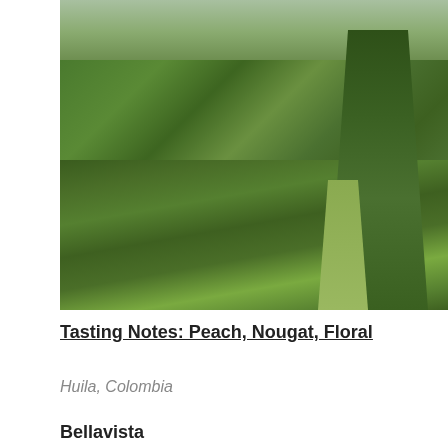[Figure (photo): Aerial view of lush green Colombian coffee farm hillside with dense vegetation, coffee plants, and trees on steep slopes]
Tasting Notes: Peach, Nougat, Floral
Huila, Colombia
Bellavista